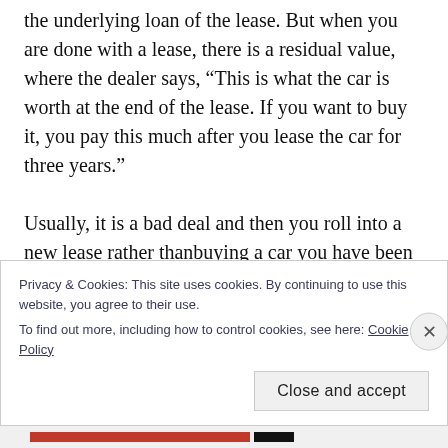the underlying loan of the lease. But when you are done with a lease, there is a residual value, where the dealer says, “This is what the car is worth at the end of the lease. If you want to buy it, you pay this much after you lease the car for three years.”

Usually, it is a bad deal and then you roll into a new lease rather thanbuying a car you have been buying for three years. We managed to negotiate with them and allowed them to screw us on the
Privacy & Cookies: This site uses cookies. By continuing to use this website, you agree to their use.
To find out more, including how to control cookies, see here: Cookie Policy
Close and accept